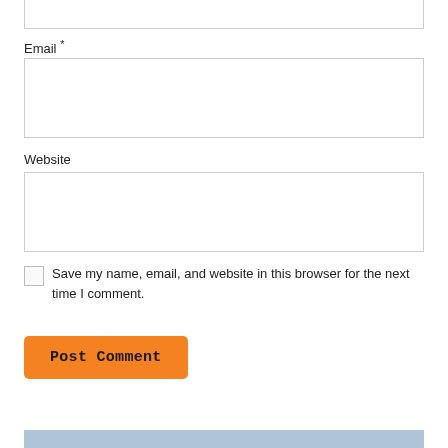Email *
Website
Save my name, email, and website in this browser for the next time I comment.
Post Comment